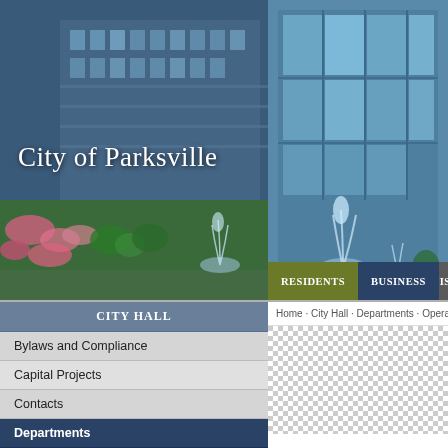[Figure (screenshot): City of Parksville municipal website screenshot showing header photo with city hall building, gardens and fountains, navigation menu with Residents, Business, Visi... tabs, left sidebar with City Hall navigation including Bylaws and Compliance, Capital Projects, Contacts, Departments (active), Administration, Community Planning and Building, Engineering sub-items, and breadcrumb navigation on the right.]
City of Parksville
City Hall
Bylaws and Compliance
Capital Projects
Contacts
Departments
Administration
Community Planning and Building
Engineering
Home · City Hall · Departments · Operations · Water · A...